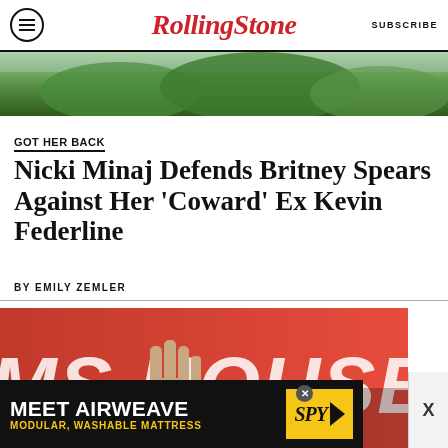RollingStone | SUBSCRIBE
[Figure (photo): Blurred outdoor photo showing green trees/foliage at top of page]
GOT HER BACK
Nicki Minaj Defends Britney Spears Against Her 'Coward' Ex Kevin Federline
BY EMILY ZEMLER
[Figure (photo): Photo of person with hand raised in front of red and white 'MS HOUSE' sign in background]
[Figure (advertisement): Meet Airweave – Modular, Washable Mattress advertisement with SPY logo]